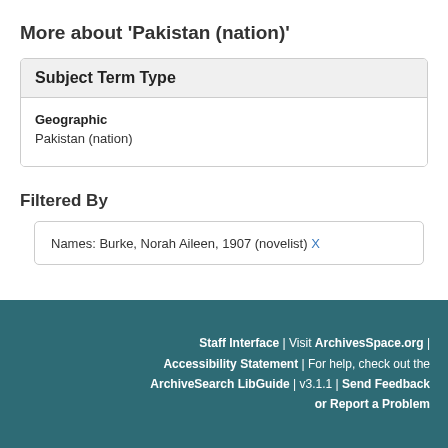More about 'Pakistan (nation)'
Subject Term Type
Geographic
Pakistan (nation)
Filtered By
Names: Burke, Norah Aileen, 1907 (novelist) X
Staff Interface | Visit ArchivesSpace.org | Accessibility Statement | For help, check out the ArchiveSearch LibGuide | v3.1.1 | Send Feedback or Report a Problem